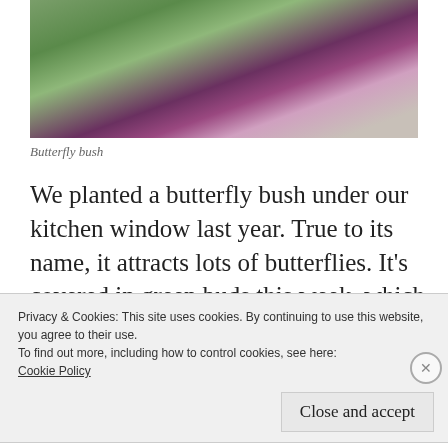[Figure (photo): Photograph of a butterfly bush with dark violet-purple blooms and green leaves against a light background, partially cropped at top]
Butterfly bush
We planted a butterfly bush under our kitchen window last year. True to its name, it attracts lots of butterflies. It’s covered in green buds this week, which will soon turn into dark violet-purple blooms. Although not fully bloomed, this one was far enough along to
Privacy & Cookies: This site uses cookies. By continuing to use this website, you agree to their use.
To find out more, including how to control cookies, see here:
Cookie Policy
Close and accept